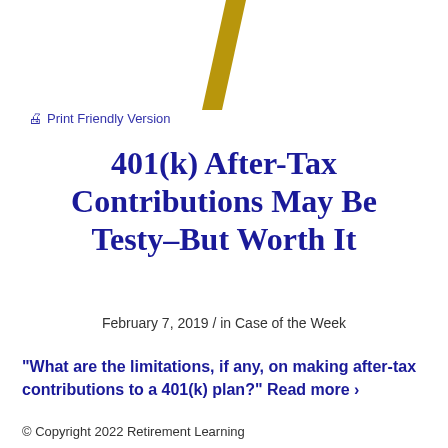[Figure (illustration): Gold diagonal slash/pencil logo mark at top center]
🖨 Print Friendly Version
401(k) After-Tax Contributions May Be Testy–But Worth It
February 7, 2019 / in Case of the Week
"What are the limitations, if any, on making after-tax contributions to a 401(k) plan?" Read more ›
© Copyright 2022 Retirement Learning